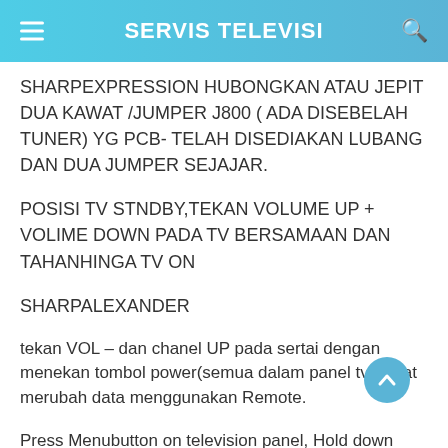SERVIS TELEVISI
SHARPEXPRESSION HUBONGKAN ATAU JEPIT DUA KAWAT /JUMPER J800 ( ADA DISEBELAH TUNER) YG PCB- TELAH DISEDIAKAN LUBANG DAN DUA JUMPER SEJAJAR.
POSISI TV STNDBY,TEKAN VOLUME UP + VOLIME DOWN PADA TV BERSAMAAN DAN TAHANHINGA TV ON
SHARPALEXANDER
tekan VOL – dan chanel UP pada sertai dengan menekan tombol power(semua dalam panel tv). buat merubah data menggunakan Remote.
Press Menubutton on television panel, Hold down menu